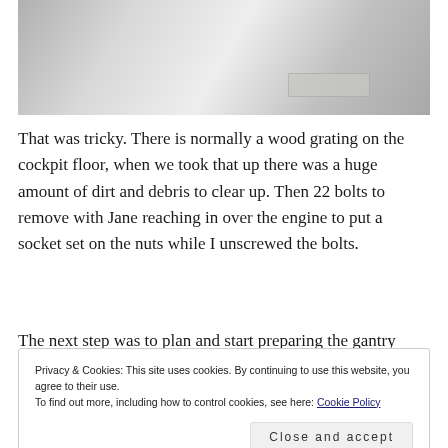[Figure (photo): Photo of a boat cockpit interior showing a white/grey compartment with metal hardware visible at top and a small metal plate/label near the bottom right]
That was tricky. There is normally a wood grating on the cockpit floor, when we took that up there was a huge amount of dirt and debris to clear up. Then 22 bolts to remove with Jane reaching in over the engine to put a socket set on the nuts while I unscrewed the bolts.
The next step was to plan and start preparing the gantry
Privacy & Cookies: This site uses cookies. By continuing to use this website, you agree to their use.
To find out more, including how to control cookies, see here: Cookie Policy
take this opportunity to replace the two sheets of acrylic